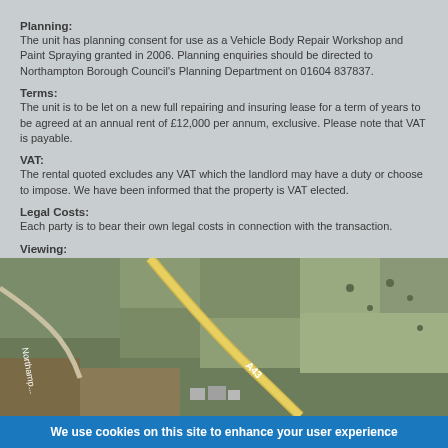Planning:
The unit has planning consent for use as a Vehicle Body Repair Workshop and Paint Spraying granted in 2006. Planning enquiries should be directed to Northampton Borough Council's Planning Department on 01604 837837.
Terms:
The unit is to be let on a new full repairing and insuring lease for a term of years to be agreed at an annual rent of £12,000 per annum, exclusive. Please note that VAT is payable.
VAT:
The rental quoted excludes any VAT which the landlord may have a duty or choose to impose. We have been informed that the property is VAT elected.
Legal Costs:
Each party is to bear their own legal costs in connection with the transaction.
Viewing:
Strictly by appointment through the Sole Agents: HADLAND CHARTERED SURVEYORS TEL: 01604 639657
[Figure (map): Aerial satellite map showing roads including A43 and Northampton area with fields and buildings]
We use cookies on this site to enhance your user experience